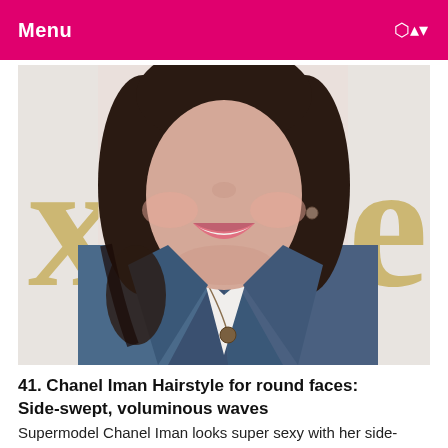Menu
[Figure (photo): Close-up photo of a young woman with brown shoulder-length hair, wearing a denim jacket and a chain necklace with a pendant, smiling. Background shows partial letters 'x' and 'e' in a gold/beige color.]
41. Chanel Iman Hairstyle for round faces: Side-swept, voluminous waves
Supermodel Chanel Iman looks super sexy with her side-swept, voluminous waves of hair. We